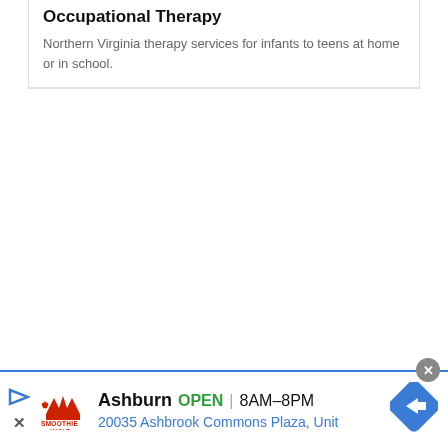Occupational Therapy
Northern Virginia therapy services for infants to teens at home or in school.
[Figure (screenshot): Advertisement banner for Smoothie King in Ashburn, VA. Shows play/ad icon, Smoothie King logo, location 'Ashburn', status 'OPEN', hours '8AM–8PM', address '20035 Ashbrook Commons Plaza, Unit', and a blue diamond navigation icon. Close button (×) in top-right corner.]